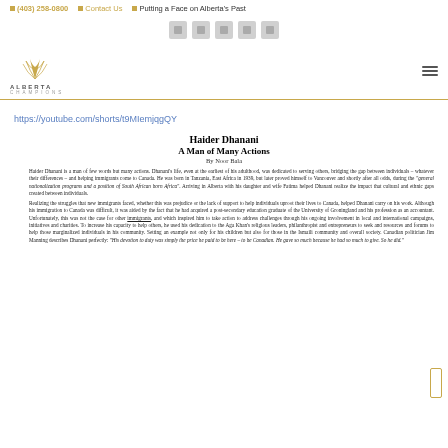☐ (403) 258-0800   ☐ Contact Us   ☐ Putting a Face on Alberta's Past
[Figure (logo): Alberta Champions logo with stylized wheat sheaf graphic and text ALBERTA CHAMPIONS]
https://youtube.com/shorts/t9MIemjqgQY
Haider Dhanani
A Man of Many Actions
By Noor Bala
Haider Dhanani is a man of few words but many actions. Dhanani's life, even at the earliest of his adulthood, was dedicated to serving others, bridging the gap between individuals – whatever their differences – and helping immigrants come to Canada. He was born in Tanzania, East Africa in 1939, but later proved himself to Vancouver and shortly after all odds, during the "general nationalization programs and a position of South African born Africa" . Arriving in Alberta with his daughter and wife Fatima helped Dhanani realize the impact that cultural and ethnic gaps created between individuals.

Realizing the struggles that new immigrants faced, whether this was prejudice or the lack of support to help individuals uproot their lives to Canada, helped Dhanani carry on his work. Although his immigration to Canada was difficult, it was aided by the fact that he had acquired a post-secondary education graduate of the University of Groningland and his profession as an accountant. Unfortunately, this was not the case for other immigrants, and which inspired him to take action to address challenges through his ongoing involvement in local and international campaigns, initiatives and charities. To increase his capacity to help others, he used his dedication to the Aga Khan's religious leaders, philanthropist and entrepreneurs to seek and resources and forums to help those marginalized individuals in his community. Setting an example not only for his children but also for those in the Ismaili community and overall society. Canadian politician Jim Manning describes Dhanani perfectly: "His devotion to duty was simply the price he paid to be here – to be Canadian. He gave so much because he had so much to give. So he did."